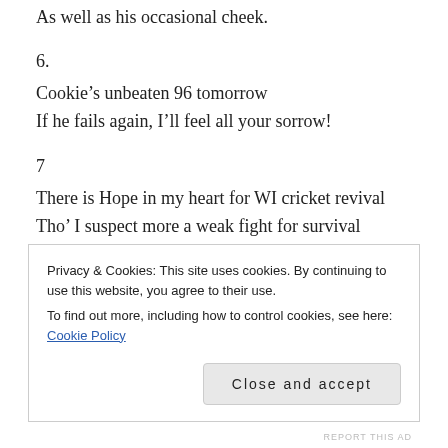As well as his occasional cheek.
6.
Cookie’s unbeaten 96 tomorrow
If he fails again, I’ll feel all your sorrow!
7
There is Hope in my heart for WI cricket revival
Tho’ I suspect more a weak fight for survival
8
So glad to see the Zaltzman thrust
But leave him be on TMS a must
Privacy & Cookies: This site uses cookies. By continuing to use this website, you agree to their use.
To find out more, including how to control cookies, see here: Cookie Policy
Close and accept